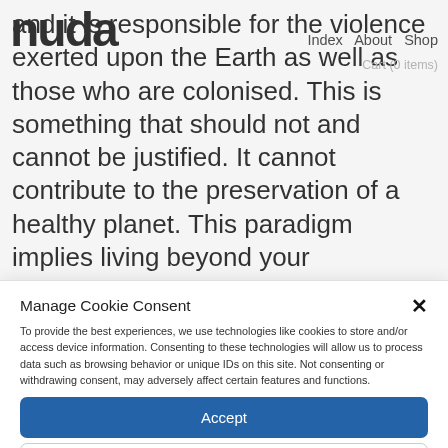nuda | Index  About  Shop  Cart (0 items)
and it is responsible for the violence exerted upon the Earth as well as those who are colonised. This is something that should not and cannot be justified. It cannot contribute to the preservation of a healthy planet. This paradigm implies living beyond your
Manage Cookie Consent
To provide the best experiences, we use technologies like cookies to store and/or access device information. Consenting to these technologies will allow us to process data such as browsing behavior or unique IDs on this site. Not consenting or withdrawing consent, may adversely affect certain features and functions.
Accept
Deny
Privacy Policy